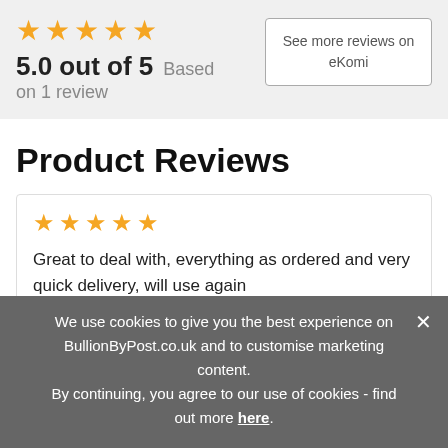[Figure (other): Five gold stars rating display]
5.0 out of 5  Based on 1 review
See more reviews on eKomi
Product Reviews
[Figure (other): Five gold stars rating for review]
Great to deal with, everything as ordered and very quick delivery, will use again
Mr G.   Cambridgeshire   12/03/20
We use cookies to give you the best experience on BullionByPost.co.uk and to customise marketing content. By continuing, you agree to our use of cookies - find out more here.